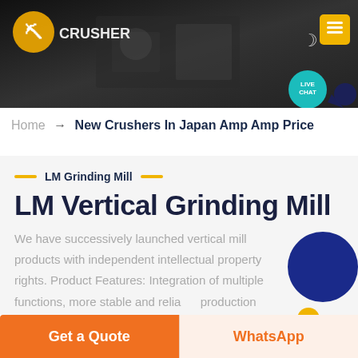[Figure (photo): Dark industrial background header banner with heavy machinery/crusher equipment in shadow]
Home → New Crushers In Japan Amp Amp Price
LM Grinding Mill
LM Vertical Grinding Mill
We have successively launched vertical mill products with independent intellectual property rights. Product Features: Integration of multiple functions, more stable and reliable production and more excellent capacity
Get a Quote | WhatsApp